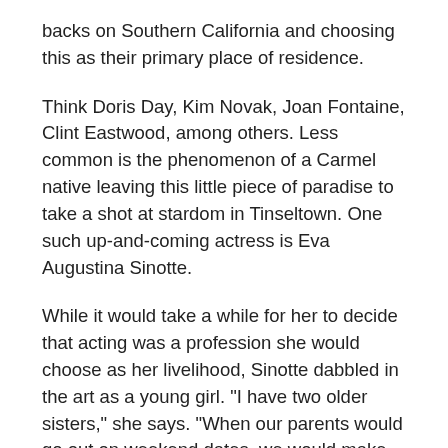backs on Southern California and choosing this as their primary place of residence.
Think Doris Day, Kim Novak, Joan Fontaine, Clint Eastwood, among others. Less common is the phenomenon of a Carmel native leaving this little piece of paradise to take a shot at stardom in Tinseltown. One such up-and-coming actress is Eva Augustina Sinotte.
While it would take a while for her to decide that acting was a profession she would choose as her livelihood, Sinotte dabbled in the art as a young girl. "I have two older sisters," she says. "When our parents would go out on weekend dates, we would make home movies." It was while attending Carmel High School that the bug truly bit. "My first play was 'Stage Door'.